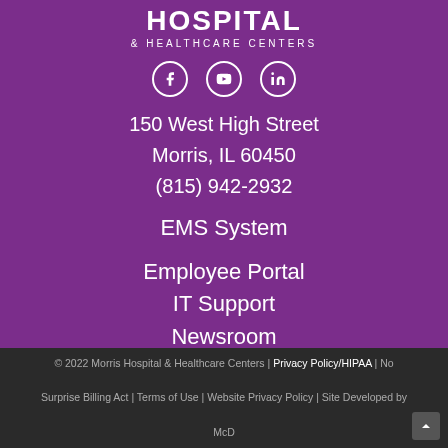[Figure (logo): Morris Hospital & Healthcare Centers logo in white text on purple background]
[Figure (other): Social media icons: Facebook, YouTube, LinkedIn in white circles]
150 West High Street
Morris, IL 60450
(815) 942-2932
EMS System
Employee Portal
IT Support
Newsroom
© 2022 Morris Hospital & Healthcare Centers | Privacy Policy/HIPAA | No Surprise Billing Act | Terms of Use | Website Privacy Policy | Site Developed by McD